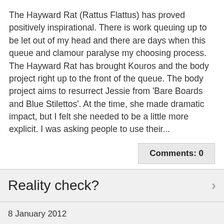The Hayward Rat (Rattus Flattus) has proved positively inspirational. There is work queuing up to be let out of my head and there are days when this queue and clamour paralyse my choosing process. The Hayward Rat has brought Kouros and the body project right up to the front of the queue. The body project aims to resurrect Jessie from 'Bare Boards and Blue Stilettos'. At the time, she made dramatic impact, but I felt she needed to be a little more explicit. I was asking people to use their...
Comments: 0
Reality check?
8 January 2012
Blog